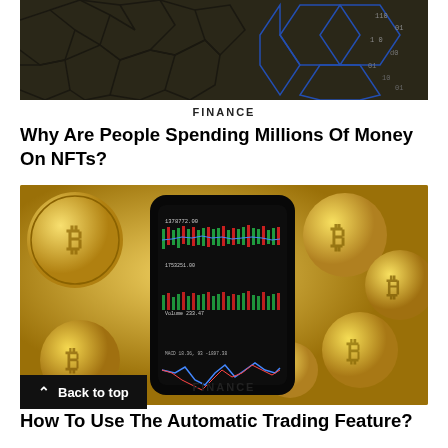[Figure (photo): Hexagonal blockchain/technology pattern background, dark golden/olive tones with blue hexagonal wireframe overlay on right]
FINANCE
Why Are People Spending Millions Of Money On NFTs?
[Figure (photo): Smartphone showing cryptocurrency trading charts with candlestick and volume graphs, surrounded by gold Bitcoin coins]
FINANCE
How To Use The Automatic Trading Feature?